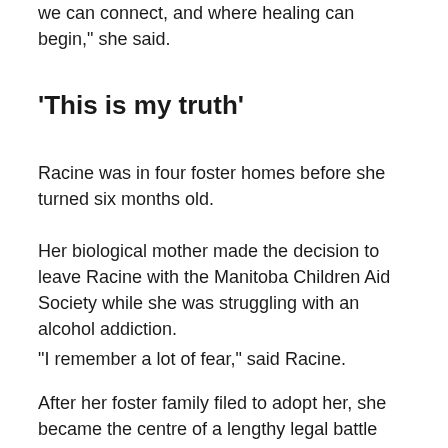we can connect, and where healing can begin," she said.
'This is my truth'
Racine was in four foster homes before she turned six months old.
Her biological mother made the decision to leave Racine with the Manitoba Children Aid Society while she was struggling with an alcohol addiction.
"I remember a lot of fear," said Racine.
After her foster family filed to adopt her, she became the centre of a lengthy legal battle between her foster parents, biological mother, and Long Plain First Nation,